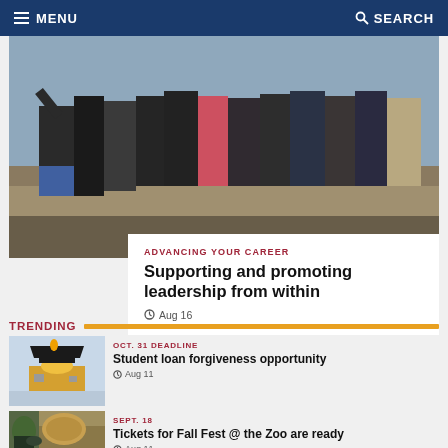MENU  SEARCH
[Figure (photo): Group of people standing together outdoors, partially cropped at waist level]
ADVANCING YOUR CAREER
Supporting and promoting leadership from within
Aug 16
TRENDING
[Figure (photo): A rolled up $100 bill wearing a graduation cap]
OCT. 31 DEADLINE
Student loan forgiveness opportunity
Aug 11
[Figure (photo): People watching a lion at a zoo]
SEPT. 18
Tickets for Fall Fest @ the Zoo are ready
Aug 11